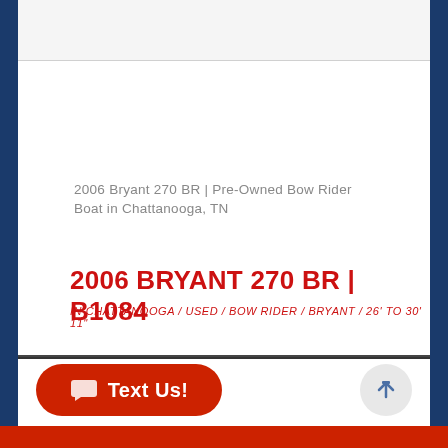2006 Bryant 270 BR | Pre-Owned Bow Rider Boat in Chattanooga, TN
2006 BRYANT 270 BR | B1084
IN CHATTANOOGA / USED / BOW RIDER / BRYANT / 26' TO 30' 11"